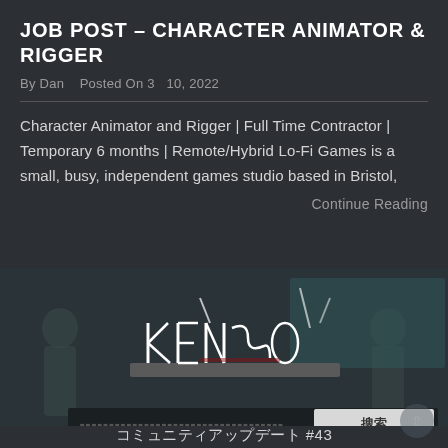JOB POST – CHARACTER ANIMATOR & RIGGER
By Dan   Posted On 3  10, 2022
Character Animator and Rigger | Full Time Contractor | Temporary 6 months | Remote/Hybrid Lo-Fi Games is a small, busy, independent games studio based in Bristol,
Continue Reading
[Figure (screenshot): Game artwork screenshot showing a stylized logo with katana/sword design elements, character silhouettes in the background, and a search bar overlay with Japanese text and a button labeled 搜索]
コミュニティアップデート #43